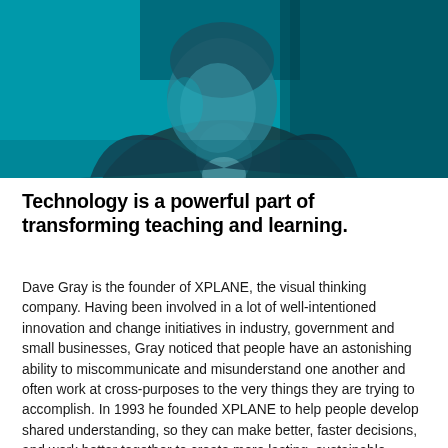[Figure (photo): Person photographed in blue-tinted lighting, wearing a dark jacket, looking upward, teal/cyan color overlay]
Technology is a powerful part of transforming teaching and learning.
Dave Gray is the founder of XPLANE, the visual thinking company. Having been involved in a lot of well-intentioned innovation and change initiatives in industry, government and small businesses, Gray noticed that people have an astonishing ability to miscommunicate and misunderstand one another and often work at cross-purposes to the very things they are trying to accomplish. In 1993 he founded XPLANE to help people develop shared understanding, so they can make better, faster decisions, and work better together to create more lasting, sustainable impact. He has also written three books on design, change and innovation